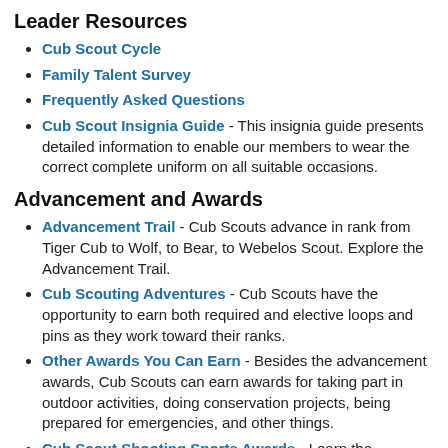Leader Resources
Cub Scout Cycle
Family Talent Survey
Frequently Asked Questions
Cub Scout Insignia Guide - This insignia guide presents detailed information to enable our members to wear the correct complete uniform on all suitable occasions.
Advancement and Awards
Advancement Trail - Cub Scouts advance in rank from Tiger Cub to Wolf, to Bear, to Webelos Scout. Explore the Advancement Trail.
Cub Scouting Adventures - Cub Scouts have the opportunity to earn both required and elective loops and pins as they work toward their ranks.
Other Awards You Can Earn - Besides the advancement awards, Cub Scouts can earn awards for taking part in outdoor activities, doing conservation projects, being prepared for emergencies, and other things.
Cub Scout Shooting Sports Awards - Learn the